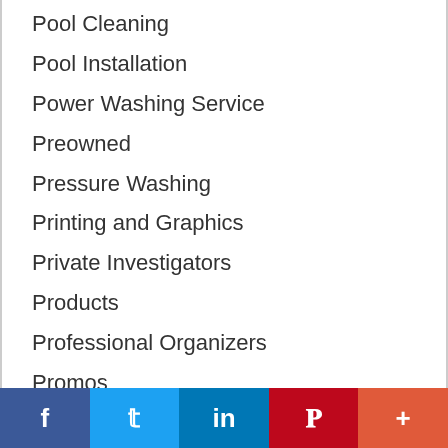Pool Cleaning
Pool Installation
Power Washing Service
Preowned
Pressure Washing
Printing and Graphics
Private Investigators
Products
Professional Organizers
Promos
Promotion
Promotion - Advertising
Promotion - Digital
Promotion - Self-serve